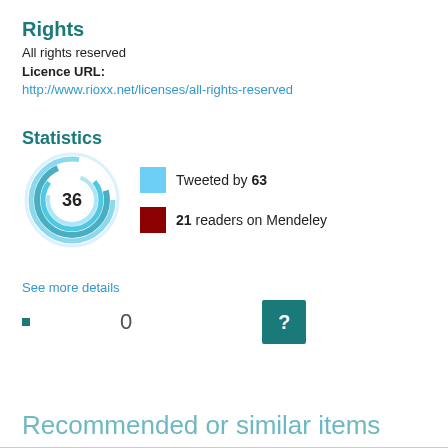Rights
All rights reserved
Licence URL:
http://www.rioxx.net/licenses/all-rights-reserved
Statistics
[Figure (donut-chart): Donut chart showing 36 total: Tweeted by 63, 21 readers on Mendeley]
See more details
0
Recommended or similar items